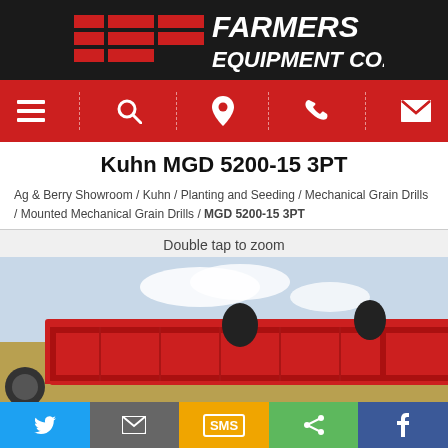[Figure (logo): Farmers Equipment Co. logo with red geometric shapes on dark background]
[Figure (screenshot): Red navigation bar with menu, search, location, phone, and email icons]
Kuhn MGD 5200-15 3PT
Ag & Berry Showroom / Kuhn / Planting and Seeding / Mechanical Grain Drills / Mounted Mechanical Grain Drills / MGD 5200-15 3PT
Double tap to zoom
[Figure (photo): Red Kuhn MGD 5200 grain drill equipment in a field]
[Figure (screenshot): Social sharing bar with Twitter, Email, SMS, Share, and Facebook buttons]